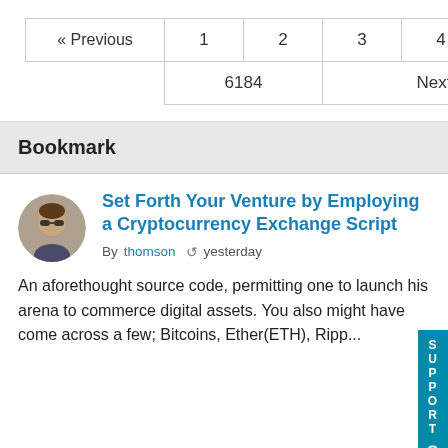[Figure (screenshot): Pagination controls showing Previous, page numbers 1 2 3 4 5 ..., then 6184 and Next >>]
Bookmark
[Figure (photo): Circular avatar photo of a person wearing sunglasses]
Set Forth Your Venture by Employing a Cryptocurrency Exchange Script
By thomson  yesterday
An aforethought source code, permitting one to launch his arena to commerce digital assets. You also might have come across a few; Bitcoins, Ether(ETH), Ripp...